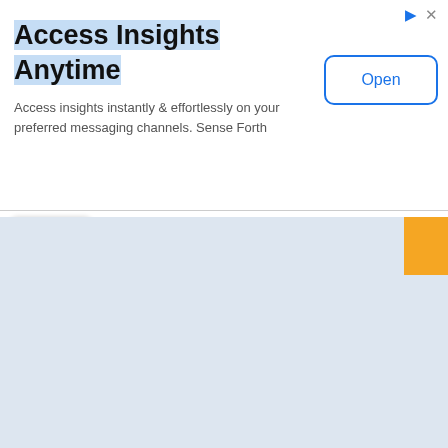[Figure (screenshot): Advertisement banner: 'Access Insights Anytime' with subtitle 'Access insights instantly & effortlessly on your preferred messaging channels. Sense Forth' and an 'Open' button]
| # | Bank Name | Phone |
| --- | --- | --- |
|  |  | 287... |
| 47 | Durgapur Steel Peoples Cooperative Bank Ltd | 2572... / ... / ... |
| 48 | Emirates Nbd Bank Pjsc | ... |
| 49 | Equitas Small Finance Bank | 3089... / 3089... / ... / 3089... / ... / 3089... |